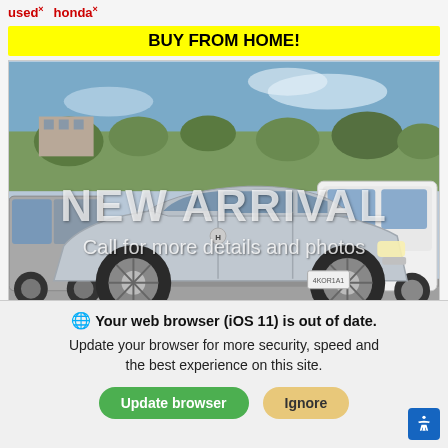used× honda×
BUY FROM HOME!
[Figure (photo): Silver Honda Civic sedan parked in a dealer lot with other vehicles in background. Watermark text reads NEW ARRIVAL and Call for more details and photos.]
We use cookies to optimize our website and our service.
Cookie Policy · Privacy Statement
🌐 Your web browser (iOS 11) is out of date. Update your browser for more security, speed and the best experience on this site.